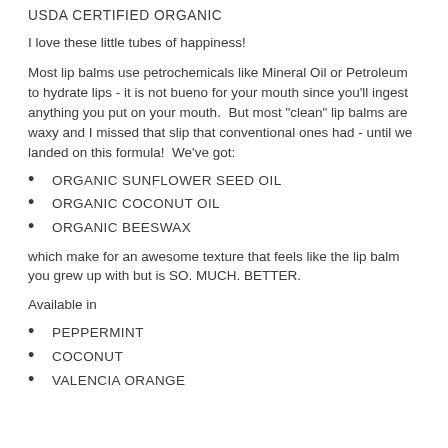USDA CERTIFIED ORGANIC
I love these little tubes of happiness!
Most lip balms use petrochemicals like Mineral Oil or Petroleum to hydrate lips - it is not bueno for your mouth since you'll ingest anything you put on your mouth.  But most "clean" lip balms are waxy and I missed that slip that conventional ones had - until we landed on this formula!  We've got:
ORGANIC SUNFLOWER SEED OIL
ORGANIC COCONUT OIL
ORGANIC BEESWAX
which make for an awesome texture that feels like the lip balm you grew up with but is SO. MUCH. BETTER.
Available in
PEPPERMINT
COCONUT
VALENCIA ORANGE